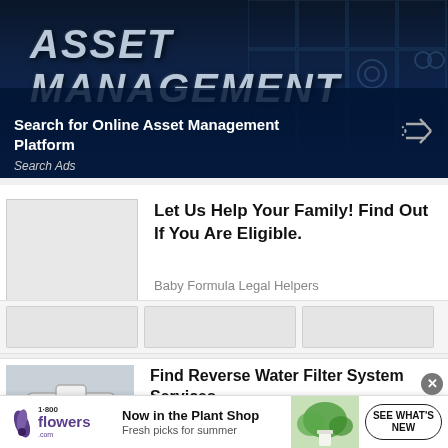[Figure (screenshot): Dark blue asset management advertisement banner with large stylized 'ASSET MANAGEMENT' text and decorative grid icons in the background]
Search for Online Asset Management Platform
Search Ads
Let Us Help Your Family! Find Out If You Are Eligible.
Baby Formula Legal Helpers
Find Reverse Water Filter System Services
[Figure (screenshot): 1-800-Flowers bottom banner advertisement: 'Now in the Plant Shop - Fresh picks for summer' with plant image and 'SEE WHAT'S NEW' button]